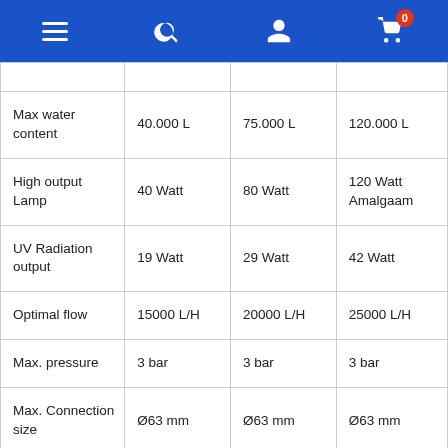Navigation bar with menu, search, user, and cart icons
|  |  |  |  |
| --- | --- | --- | --- |
| Max water content | 40.000 L | 75.000 L | 120.000 L |
| High output Lamp | 40 Watt | 80 Watt | 120 Watt Amalgaam |
| UV Radiation output | 19 Watt | 29 Watt | 42 Watt |
| Optimal flow | 15000 L/H | 20000 L/H | 25000 L/H |
| Max. pressure | 3 bar | 3 bar | 3 bar |
| Max. Connection size | Ø63 mm | Ø63 mm | Ø63 mm |
| Length of the device | 100 cm | 100 cm | 100 cm |